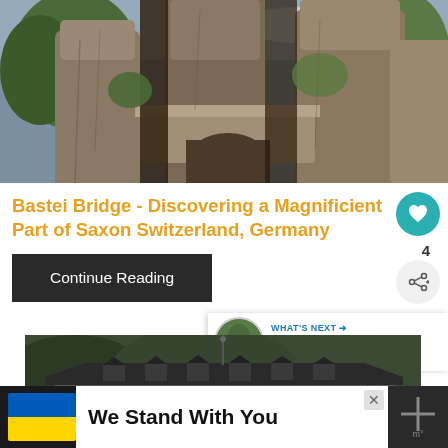[Figure (photo): Bastei Bridge rock formation with stone bridge arch and tall rock pillars surrounded by trees, Saxon Switzerland Germany]
Bastei Bridge - Discovering a Magnificient Part of Saxon Switzerland, Germany
Continue Reading
[Figure (photo): A large building with dark roof and dormer windows, surrounded by forest hills]
WHAT'S NEXT → Germany in Summer! Ep...
We Stand With You